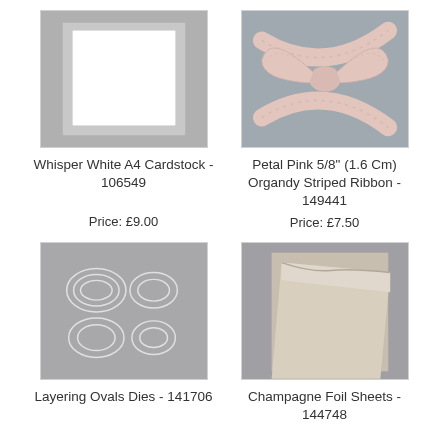[Figure (photo): Whisper White A4 cardstock mat on grey background]
Whisper White A4 Cardstock - 106549
Price: £9.00
[Figure (photo): Petal Pink organdy striped ribbon tied in a bow on grey background]
Petal Pink 5/8" (1.6 Cm) Organdy Striped Ribbon - 149441
Price: £7.50
[Figure (photo): Layering Ovals dies showing four oval die cut shapes on grey background]
Layering Ovals Dies - 141706
[Figure (photo): Champagne Foil Sheets curled on grey background]
Champagne Foil Sheets - 144748